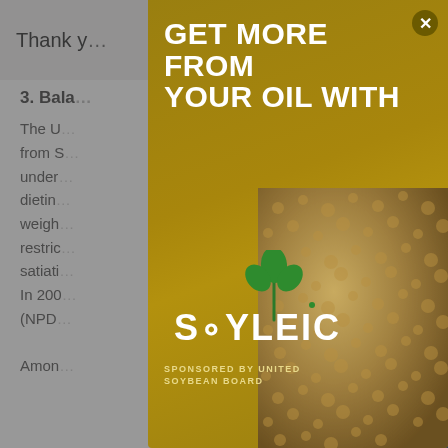Thank you... ...ools you
3. Bala...
The U... grow from S... under... from dietin... weigh... restric... satiati... 07a). In 200... years (NPD...

Amon...
[Figure (infographic): Advertisement modal overlay: 'GET MORE FROM YOUR OIL WITH SOYLEIC' logo with a plant graphic. Sponsored by United Soybean Board. Golden/olive background with a close button. Bottom right shows a textured photo of seeds/grain.]